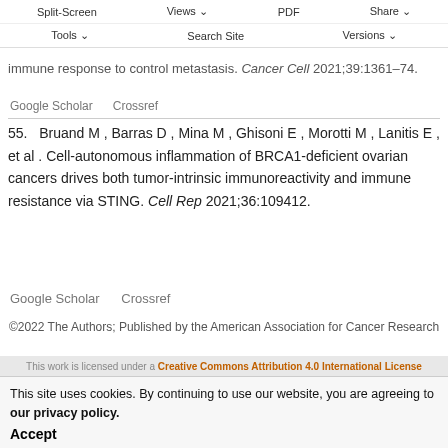Split-Screen  Views  PDF  Share  Tools  Search Site  Versions
immune response to control metastasis. Cancer Cell 2021;39:1361–74.
Google Scholar   Crossref
55. Bruand M , Barras D , Mina M , Ghisoni E , Morotti M , Lanitis E , et al . Cell-autonomous inflammation of BRCA1-deficient ovarian cancers drives both tumor-intrinsic immunoreactivity and immune resistance via STING. Cell Rep 2021;36:109412.
Google Scholar   Crossref
©2022 The Authors; Published by the American Association for Cancer Research
This work is licensed under a Creative Commons Attribution 4.0 International License
This site uses cookies. By continuing to use our website, you are agreeing to our privacy policy. Accept